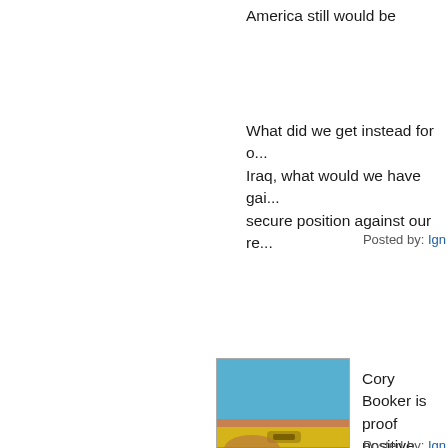America still would be
What did we get instead for o... Iraq, what would we have gai... secure position against our re...
Posted by: Ign
[Figure (photo): Avatar image showing a person in a yellow bikini top against a blue sky background]
Cory Booker is proof positive... corrupt absolute buttholes.
Posted by: Ign
[Figure (illustration): Green spiral/hypnotic circular pattern avatar]
Pin, those stats have a lot to... (higher per capita murder tha... suck no matter what your ski...
[Figure (illustration): Green sunburst/radial pattern avatar with circle in center]
Senator Cory Booker is neith... "troubled." What Booker is is... Kavanaugh has not "comforte...